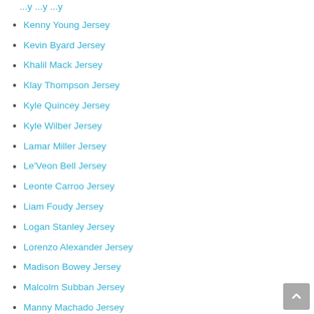Kenny Young Jersey
Kevin Byard Jersey
Khalil Mack Jersey
Klay Thompson Jersey
Kyle Quincey Jersey
Kyle Wilber Jersey
Lamar Miller Jersey
Le'Veon Bell Jersey
Leonte Carroo Jersey
Liam Foudy Jersey
Logan Stanley Jersey
Lorenzo Alexander Jersey
Madison Bowey Jersey
Malcolm Subban Jersey
Manny Machado Jersey
Marcus Allen Jersey
Mark Andrews Jersey
Mark Messier Jersey
Mark Pysyk Jersey
Markelle Fultz Jersey